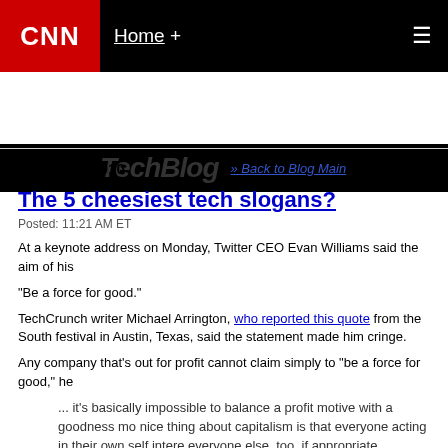CNN | Home + | ≡
TechBlog » Back to Blog Main
March 16, 2010
The 5 cheesiest tech slogans?
Posted: 11:21 AM ET
At a keynote address on Monday, Twitter CEO Evan Williams said the aim of his
"Be a force for good."
TechCrunch writer Michael Arrington, who reported this quote from the South festival in Austin, Texas, said the statement made him cringe.
Any company that's out for profit cannot claim simply to "be a force for good," he
... it's basically impossible to balance a profit motive with a goodness mo nice thing about capitalism is that everyone acting in their own self intere everyone else, too, if appropriate government forces are put in place to s pollution, etc. Being a socialist is a great way to get laid in college but it's society.
With that in mind, here's our list of the five cheesiest - or otherwise bizarre - tech mission statements and unofficial tags. Can any profit-seeking company claim to humanity? (Ben & Jerry's ice cream tried until investors stepped in, as NPR